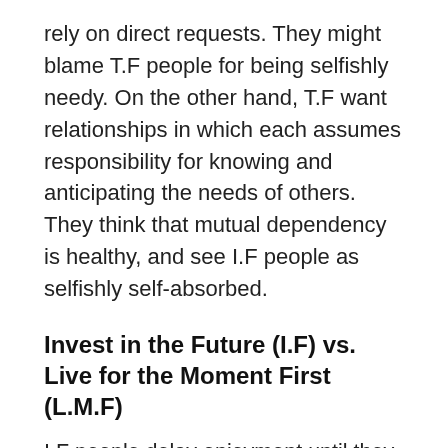rely on direct requests. They might blame T.F people for being selfishly needy. On the other hand, T.F want relationships in which each assumes responsibility for knowing and anticipating the needs of others. They think that mutual dependency is healthy, and see I.F people as selfishly self-absorbed.
Invest in the Future (I.F) vs. Live for the Moment First (L.M.F)
I.F people delay enjoyment until they fulfill responsibilities, sacrificing the present for an anxiety free future. L.M people combine work and play, prioritize enjoyment, fear